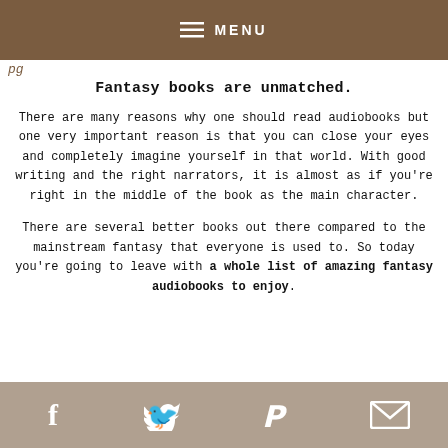MENU
pg...
Fantasy books are unmatched.
There are many reasons why one should read audiobooks but one very important reason is that you can close your eyes and completely imagine yourself in that world. With good writing and the right narrators, it is almost as if you're right in the middle of the book as the main character.
There are several better books out there compared to the mainstream fantasy that everyone is used to. So today you're going to leave with a whole list of amazing fantasy audiobooks to enjoy.
f  twitter  p  mail